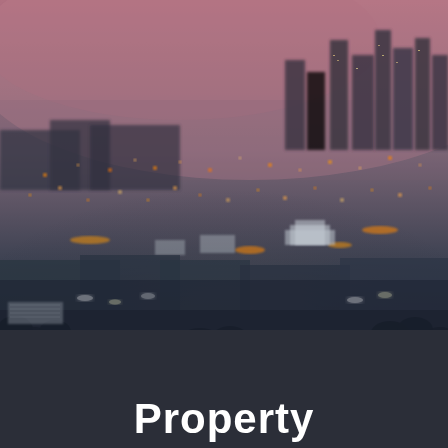[Figure (photo): Aerial nighttime cityscape photograph showing a large metropolitan city at dusk/night with illuminated skyscrapers on the horizon, city lights spread across the foreground, and a pinkish-purple sky above. The scene appears to be Los Angeles.]
Property